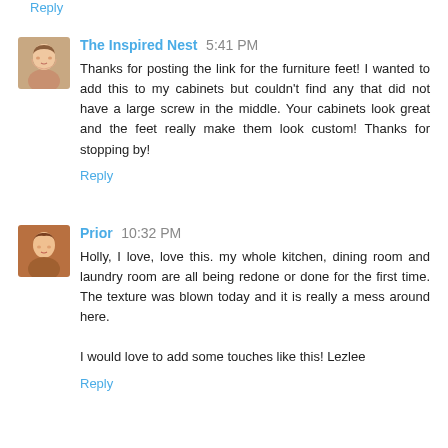Reply
The Inspired Nest 5:41 PM
Thanks for posting the link for the furniture feet! I wanted to add this to my cabinets but couldn't find any that did not have a large screw in the middle. Your cabinets look great and the feet really make them look custom! Thanks for stopping by!
Reply
Prior 10:32 PM
Holly, I love, love this. my whole kitchen, dining room and laundry room are all being redone or done for the first time. The texture was blown today and it is really a mess around here.

I would love to add some touches like this! Lezlee
Reply